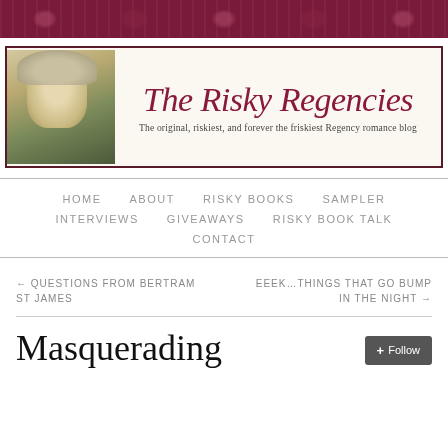[Figure (illustration): Dark crimson floral decorative banner at top of page]
[Figure (logo): The Risky Regencies blog logo with Regency-era woman illustration on left and italic script title text. Subtitle reads: The original, riskiest, and forever the friskiest Regency romance blog]
HOME   ABOUT   RISKY BOOKS   SAMPLER   INTERVIEWS   GIVEAWAYS   RISKY BOOK TALK   CONTACT
← QUESTIONS FROM BERTRAM ST JAMES
EEEK…THINGS THAT GO BUMP IN THE NIGHT →
Masquerading